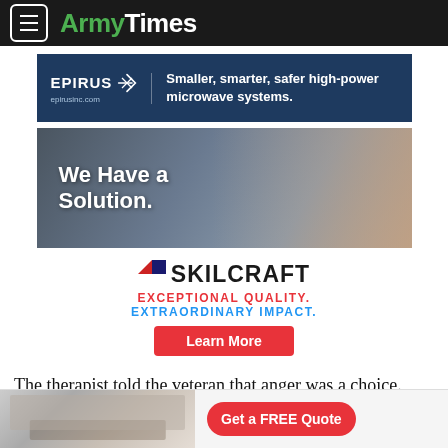ArmyTimes
[Figure (infographic): Epirus advertisement banner: dark navy background, Epirus logo with lightning bolt icon, epirusinc.com URL, tagline 'Smaller, smarter, safer high-power microwave systems.']
[Figure (infographic): Advertisement with text 'We Have a Solution.' overlaid on photo of woman on phone with office equipment in background]
[Figure (infographic): Skilcraft advertisement with flag logo, company name, taglines 'EXCEPTIONAL QUALITY. EXTRAORDINARY IMPACT.' and 'Learn More' red button]
The therapist told the veteran that anger was a choice. Anger's not a choice, it is a condition. The brain builds a pattern. You can
[Figure (infographic): Bottom advertisement banner showing kitchen photo on left and 'Get a FREE Quote' red pill-shaped button on right]